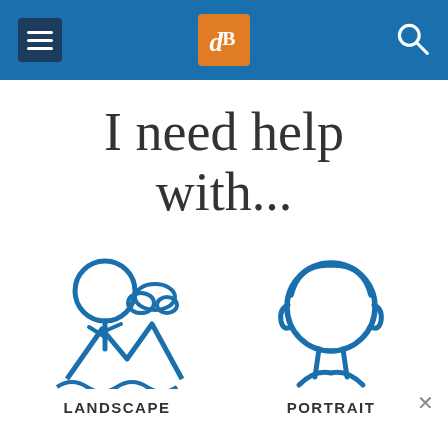[Figure (screenshot): Website header bar with hamburger menu (dark blue square), dPS logo (orange square with stylized dP letter), and search icon on blue background]
I need help with...
[Figure (illustration): Blue line-art icon of landscape scene: tree with round canopy, mountains, clouds, water]
[Figure (illustration): Blue line-art icon of portrait: human face/head outline with hair details]
LANDSCAPE
PORTRAIT